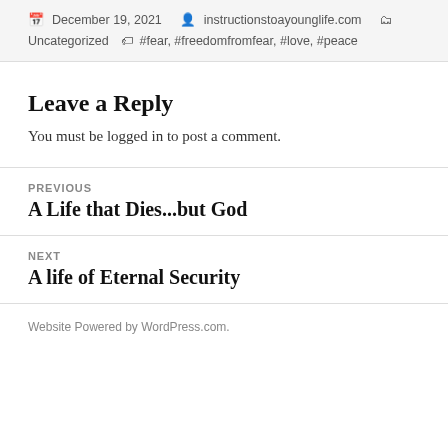December 19, 2021   instructionstoayounglife.com   Uncategorized   #fear, #freedomfromfear, #love, #peace
Leave a Reply
You must be logged in to post a comment.
PREVIOUS
A Life that Dies...but God
NEXT
A life of Eternal Security
Website Powered by WordPress.com.